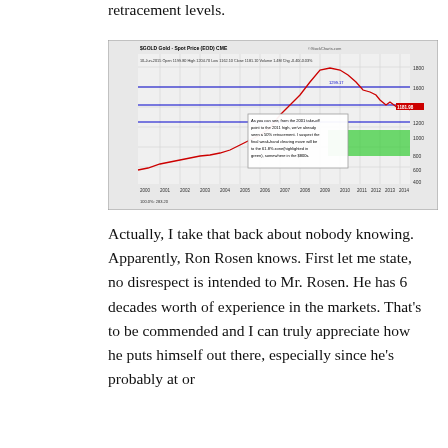retracement levels.
[Figure (continuous-plot): $GOLD Gold Spot Price (EOD) CME monthly chart from StockCharts.com showing gold price from 2000 to 2015. Horizontal blue Fibonacci retracement lines are drawn. A green highlighted box marks the 61.8% retracement zone in the $800s. An annotation reads: 'As you can see, from the 2001 take-off point to the 2011 high, we've already seen a 50% retracement. I suspect the final weak-hand clearing move will be to the 61.8% zone(highlighted in green), somewhere in the $800s.' Price shown at close 1181.10 with current data marker at 1181.98.]
Actually, I take that back about nobody knowing. Apparently, Ron Rosen knows. First let me state, no disrespect is intended to Mr. Rosen. He has 6 decades worth of experience in the markets. That’s to be commended and I can truly appreciate how he puts himself out there, especially since he’s probably at or